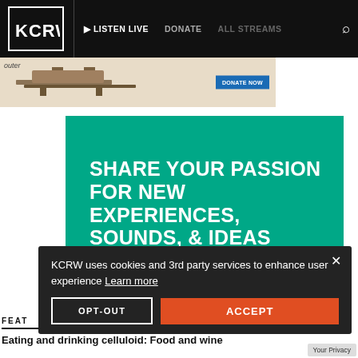[Figure (screenshot): KCRW website navigation bar with logo, Listen Live, Donate, All Streams, and search icon on black background]
[Figure (photo): Advertisement banner with outdoor furniture photo and Donate Now button]
SHARE YOUR PASSION FOR NEW EXPERIENCES, SOUNDS, & IDEAS
[Figure (screenshot): GET INVOLVED button on teal promotional background]
KCRW uses cookies and 3rd party services to enhance user experience Learn more
OPT-OUT
ACCEPT
FEAT
Eating and drinking celluloid: Food and wine